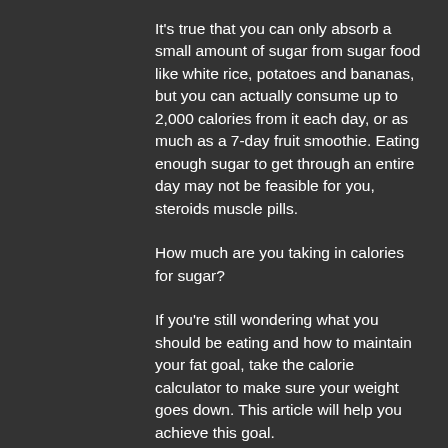It's true that you can only absorb a small amount of sugar from sugar food like white rice, potatoes and bananas, but you can actually consume up to 2,000 calories from it each day, or as much as a 7-day fruit smoothie. Eating enough sugar to get through an entire day may not be feasible for you, steroids muscle pills.
How much are you taking in calories for sugar?
If you're still wondering what you should be eating and how to maintain your fat goal, take the calorie calculator to make sure your weight goes down. This article will help you achieve this goal.
If you don't feel like cutting sugar or cutting out all food out of your life, you can try a diet for the rest of your life. This is easy to do, as